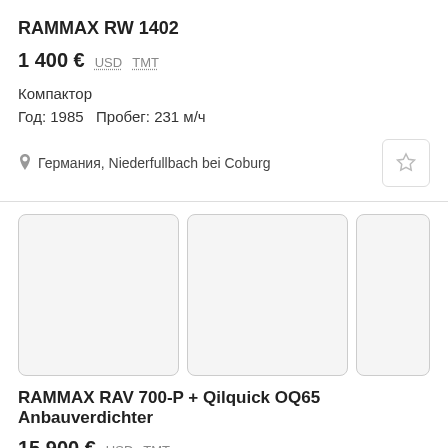RAMMAX RW 1402
1 400 € USD TMT
Компактор
Год: 1985   Пробег: 231 м/ч
Германия, Niederfullbach bei Coburg
[Figure (photo): Three image placeholders for a vehicle/equipment listing]
RAMMAX RAV 700-P + Qilquick OQ65 Anbauverdichter
15 900 € USD TMT
Виброплита
Год: 2005